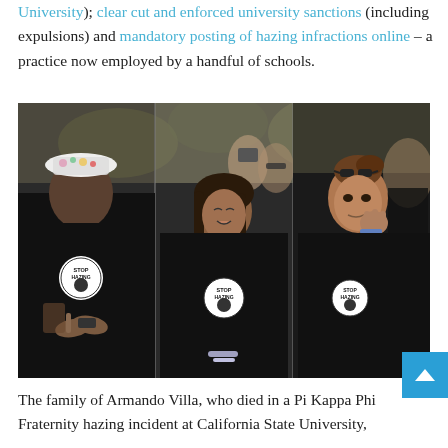University); clear cut and enforced university sanctions (including expulsions) and mandatory posting of hazing infractions online – a practice now employed by a handful of schools.
[Figure (photo): Three people wearing black 'Stop Hazing' t-shirts at an outdoor gathering. Left: a person with a decorated cap, hands clasped together. Center: a woman looking upward emotionally. Right: a woman with sunglasses on her head, hand raised near her face. Background shows trees and other people.]
The family of Armando Villa, who died in a Pi Kappa Phi Fraternity hazing incident at California State University,